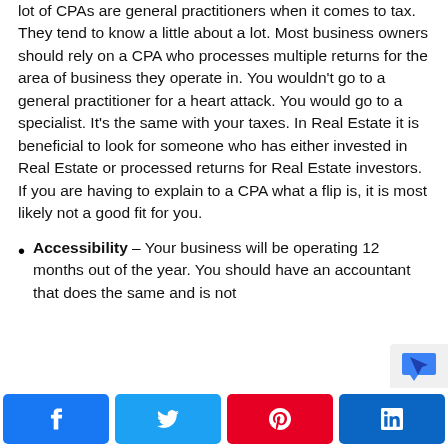lot of CPAs are general practitioners when it comes to tax. They tend to know a little about a lot. Most business owners should rely on a CPA who processes multiple returns for the area of business they operate in. You wouldn't go to a general practitioner for a heart attack. You would go to a specialist. It's the same with your taxes. In Real Estate it is beneficial to look for someone who has either invested in Real Estate or processed returns for Real Estate investors. If you are having to explain to a CPA what a flip is, it is most likely not a good fit for you.
Accessibility – Your business will be operating 12 months out of the year. You should have an accountant that does the same and is not